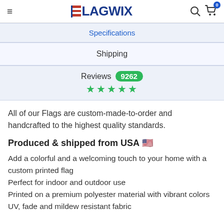FLAGWIX
Specifications
Shipping
Reviews 9262 ★★★★★
All of our Flags are custom-made-to-order and handcrafted to the highest quality standards.
Produced & shipped from USA 🇺🇸
Add a colorful and a welcoming touch to your home with a custom printed flag
Perfect for indoor and outdoor use
Printed on a premium polyester material with vibrant colors
UV, fade and mildew resistant fabric